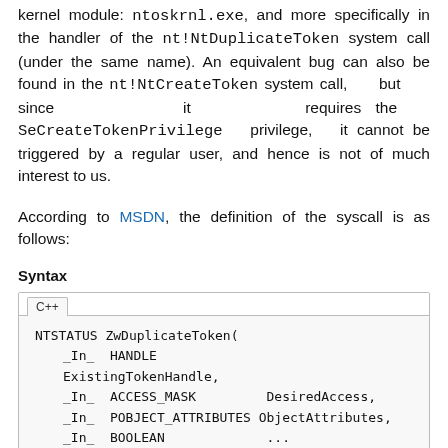kernel module: ntoskrnl.exe, and more specifically in the handler of the nt!NtDuplicateToken system call (under the same name). An equivalent bug can also be found in the nt!NtCreateToken system call, but since it requires the SeCreateTokenPrivilege privilege, it cannot be triggered by a regular user, and hence is not of much interest to us.
According to MSDN, the definition of the syscall is as follows:
Syntax
NTSTATUS ZwDuplicateToken(
  _In_  HANDLE             ExistingTokenHandle,
  _In_  ACCESS_MASK        DesiredAccess,
  _In_  POBJECT_ATTRIBUTES ObjectAttributes,
  _In_  BOOLEAN            ...